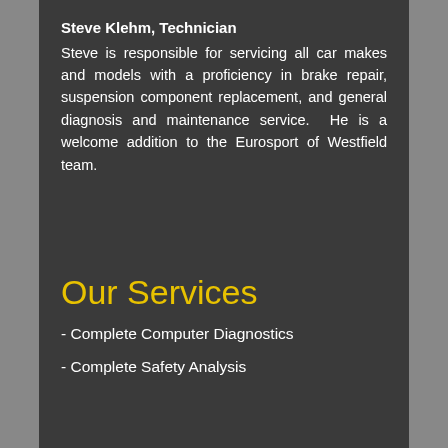Steve Klehm, Technician
Steve is responsible for servicing all car makes and models with a proficiency in brake repair, suspension component replacement, and general diagnosis and maintenance service.  He is a welcome addition to the Eurosport of Westfield team.
Our Services
- Complete Computer Diagnostics
- Complete Safety Analysis